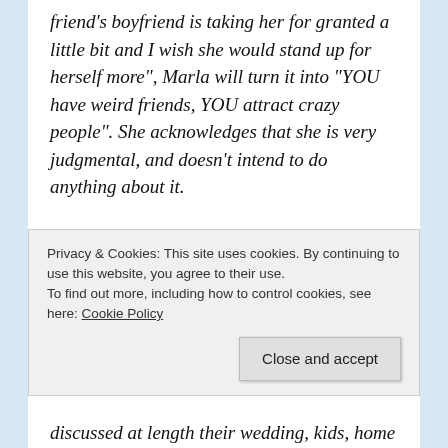friend's boyfriend is taking her for granted a little bit and I wish she would stand up for herself more", Marla will turn it into "YOU have weird friends, YOU attract crazy people". She acknowledges that she is very judgmental, and doesn't intend to do anything about it.
3) She met this guy and fell in love and moved in with him after two months (his parents pay rent and bills for their off-campus apartment). They have been together less than three years, but have declared each other partners in life at such a young...
Privacy & Cookies: This site uses cookies. By continuing to use this website, you agree to their use.
To find out more, including how to control cookies, see here: Cookie Policy
Close and accept
discussed at length their wedding, kids, home decor...